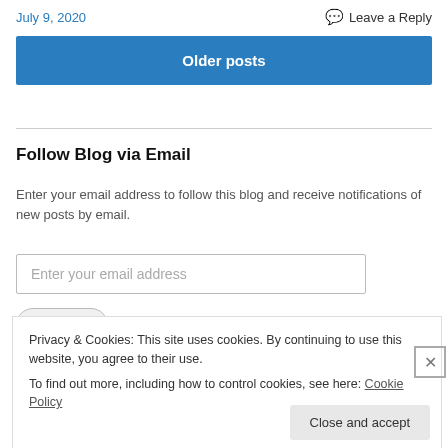July 9, 2020
Leave a Reply
Older posts
Follow Blog via Email
Enter your email address to follow this blog and receive notifications of new posts by email.
Enter your email address
Privacy & Cookies: This site uses cookies. By continuing to use this website, you agree to their use.
To find out more, including how to control cookies, see here: Cookie Policy
Close and accept